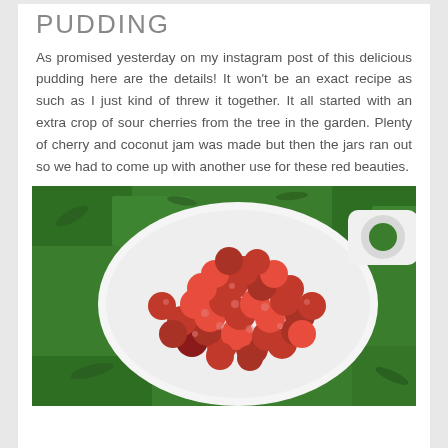PUDDING
As promised yesterday on my instagram post of this delicious pudding here are the details! It won't be an exact recipe as such as I just kind of threw it together. It all started with an extra crop of sour cherries from the tree in the garden. Plenty of cherry and coconut jam was made but then the jars ran out so we had to come up with another use for these red beauties.
[Figure (photo): Overhead view of a white ceramic bowl with a handle on grass, filled with fresh red sour cherries]